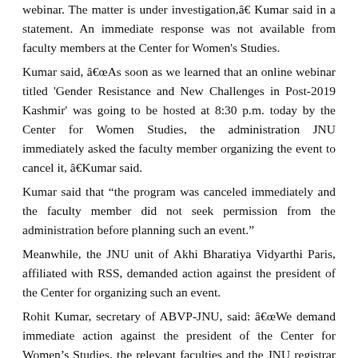webinar. The matter is under investigation,â€ Kumar said in a statement. An immediate response was not available from faculty members at the Center for Women's Studies.
Kumar said, â€œAs soon as we learned that an online webinar titled 'Gender Resistance and New Challenges in Post-2019 Kashmir' was going to be hosted at 8:30 p.m. today by the Center for Women Studies, the administration JNU immediately asked the faculty member organizing the event to cancel it, â€Kumar said.
Kumar said that “the program was canceled immediately and the faculty member did not seek permission from the administration before planning such an event.”
Meanwhile, the JNU unit of Akhi Bharatiya Vidyarthi Paris, affiliated with RSS, demanded action against the president of the Center for organizing such an event.
Rohit Kumar, secretary of ABVP-JNU, said: â€œWe demand immediate action against the president of the Center for Women’s Studies, the relevant faculties and the JNU registrar who authorized the program and who all thoughtlessly organized a such webinar by distorting the facts about the Union Territory of Jammu and Kashmir with the intention of creating a distorted narrative about Jammu and Kashmir. “PTI SLB TDS TDS